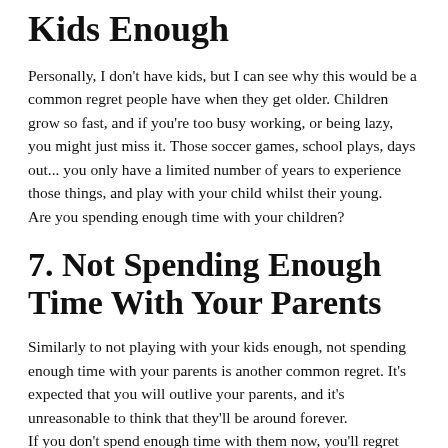Kids Enough
Personally, I don't have kids, but I can see why this would be a common regret people have when they get older. Children grow so fast, and if you're too busy working, or being lazy, you might just miss it. Those soccer games, school plays, days out... you only have a limited number of years to experience those things, and play with your child whilst their young. Are you spending enough time with your children?
7. Not Spending Enough Time With Your Parents
Similarly to not playing with your kids enough, not spending enough time with your parents is another common regret. It's expected that you will outlive your parents, and it's unreasonable to think that they'll be around forever. If you don't spend enough time with them now, you'll regret not doing so when they're gone and it's too late.